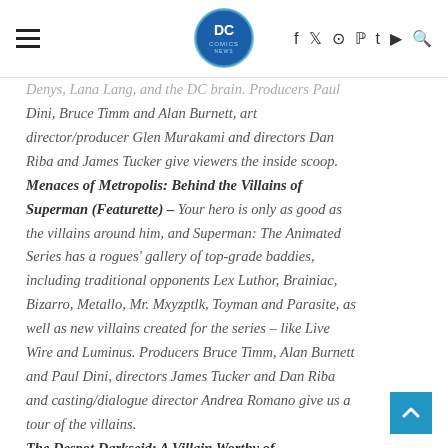DC Comics News
Denys, Lana Lang, and the DC brain. Producers Paul Dini, Bruce Timm and Alan Burnett, art director/producer Glen Murakami and directors Dan Riba and James Tucker give viewers the inside scoop. Menaces of Metropolis: Behind the Villains of Superman (Featurette) – Your hero is only as good as the villains around him, and Superman: The Animated Series has a rogues' gallery of top-grade baddies, including traditional opponents Lex Luthor, Brainiac, Bizarro, Metallo, Mr. Mxyzptlk, Toyman and Parasite, as well as new villains created for the series – like Live Wire and Luminus. Producers Bruce Timm, Alan Burnett and Paul Dini, directors James Tucker and Dan Riba and casting/dialogue director Andrea Romano give us a tour of the villains. The Despot Darkseid: A Villain Worthy of